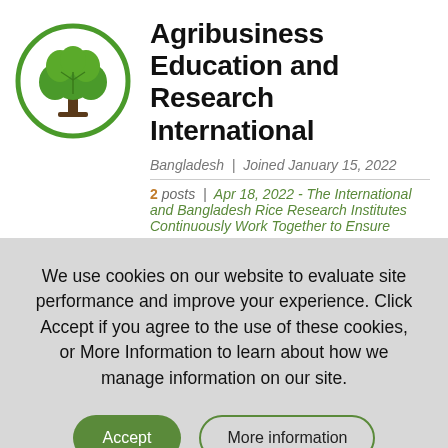[Figure (logo): Circular green logo with a tree (green leaves, brown trunk) inside a green circle border — Agribusiness Education and Research International logo]
Agribusiness Education and Research International
Bangladesh | Joined January 15, 2022
2 posts | Apr 18, 2022 - The International and Bangladesh Rice Research Institutes Continuously Work Together to Ensure
We use cookies on our website to evaluate site performance and improve your experience. Click Accept if you agree to the use of these cookies, or More Information to learn about how we manage information on our site.